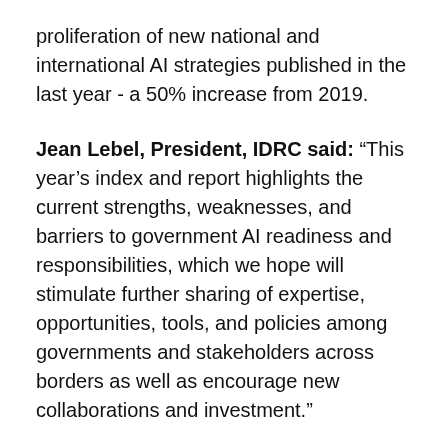proliferation of new national and international AI strategies published in the last year - a 50% increase from 2019.
Jean Lebel, President, IDRC said: “This year’s index and report highlights the current strengths, weaknesses, and barriers to government AI readiness and responsibilities, which we hope will stimulate further sharing of expertise, opportunities, tools, and policies among governments and stakeholders across borders as well as encourage new collaborations and investment.”
This year’s index and report analyzes the AI readiness of governments across 172 countries using expanded methodology as more data sets have become available.